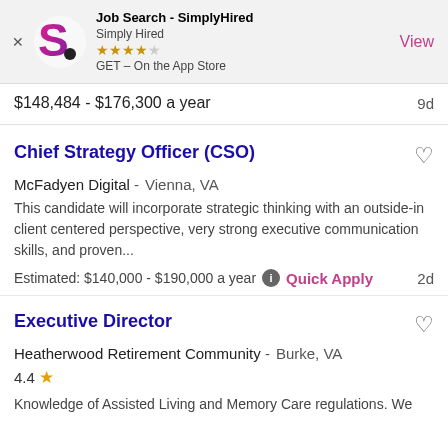[Figure (screenshot): App Store banner for Job Search - SimplyHired app with logo, star rating, and View button]
$148,484 - $176,300 a year   9d
Chief Strategy Officer (CSO)
McFadyen Digital -   Vienna, VA
This candidate will incorporate strategic thinking with an outside-in client centered perspective, very strong executive communication skills, and proven...
Estimated: $140,000 - $190,000 a year  ℹ  Quick Apply   2d
Executive Director
Heatherwood Retirement Community -   Burke, VA
4.4 ★
Knowledge of Assisted Living and Memory Care regulations. We